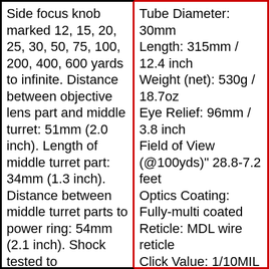Side focus knob marked 12, 15, 20, 25, 30, 50, 75, 100, 200, 400, 600 yards to infinite. Distance between objective lens part and middle turret: 51mm (2.0 inch). Length of middle turret part: 34mm (1.3 inch). Distance between middle turret parts to power ring: 54mm (2.1 inch). Shock tested to
Tube Diameter: 30mm Length: 315mm / 12.4 inch Weight (net): 530g / 18.7oz Eye Relief: 96mm / 3.8 inch Field of View (@100yds)" 28.8-7.2 feet Optics Coating: Fully-multi coated Reticle: MDL wire reticle Click Value: 1/10MIL Evaluation Range: 15MIL.